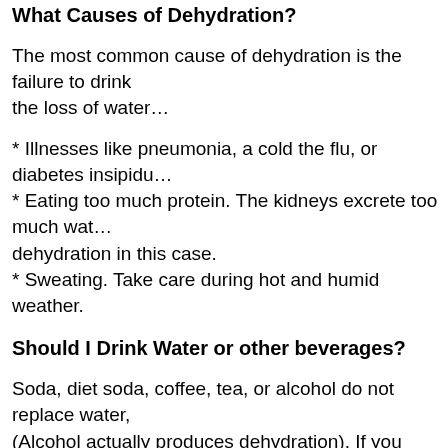What Causes of Dehydration?
The most common cause of dehydration is the failure to drink enough water to replace the loss of water…
* Illnesses like pneumonia, a cold the flu, or diabetes insipidu…
* Eating too much protein. The kidneys excrete too much wat… dehydration in this case.
* Sweating. Take care during hot and humid weather.
Should I Drink Water or other beverages?
Soda, diet soda, coffee, tea, or alcohol do not replace water, … (Alcohol actually produces dehydration). If you don't like the t… lime or an orange slice in your glass.
" The consumption of soft drinks, like land-mine terrain, is ridd… and advocates of a healthy life-style recognize that consumin… per day is undeniably connected to a myriad of pathologies."
Recognizing Your Drinking Wa…